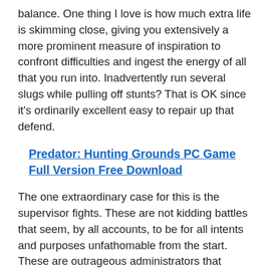balance. One thing I love is how much extra life is skimming close, giving you extensively a more prominent measure of inspiration to confront difficulties and ingest the energy of all that you run into. Inadvertently run several slugs while pulling off stunts? That is OK since it's ordinarily excellent easy to repair up that defend.
Predator: Hunting Grounds PC Game Full Version Free Download
The one extraordinary case for this is the supervisor fights. These are not kidding battles that seem, by all accounts, to be for all intents and purposes unfathomable from the start. These are outrageous administrators that require fast fingers and a huge load of maintenance. They are similarly fascinating, anticipating that you should manage all of them fairly better. Overall cases, the fun is figuring out their expected models and using them against them. In any